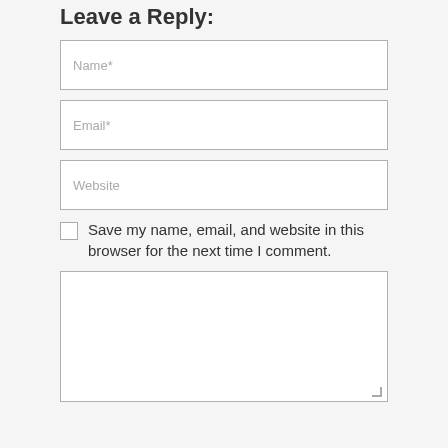Leave a Reply:
Name*
Email*
Website
Save my name, email, and website in this browser for the next time I comment.